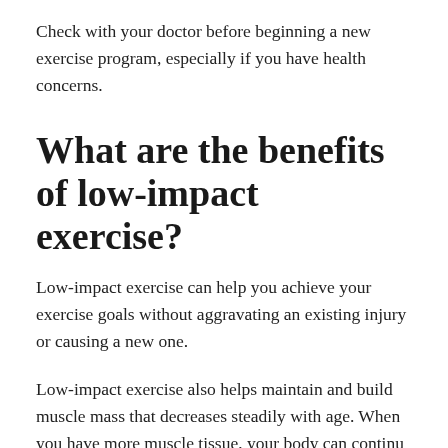Check with your doctor before beginning a new exercise program, especially if you have health concerns.
What are the benefits of low-impact exercise?
Low-impact exercise can help you achieve your exercise goals without aggravating an existing injury or causing a new one.
Low-impact exercise also helps maintain and build muscle mass that decreases steadily with age. When you have more muscle tissue, your body can continu…